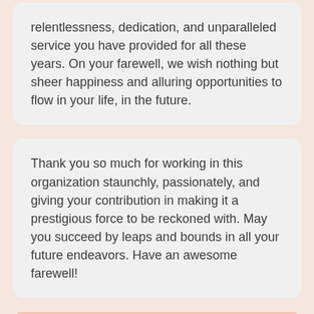relentlessness, dedication, and unparalleled service you have provided for all these years. On your farewell, we wish nothing but sheer happiness and alluring opportunities to flow in your life, in the future.
Thank you so much for working in this organization staunchly, passionately, and giving your contribution in making it a prestigious force to be reckoned with. May you succeed by leaps and bounds in all your future endeavors. Have an awesome farewell!